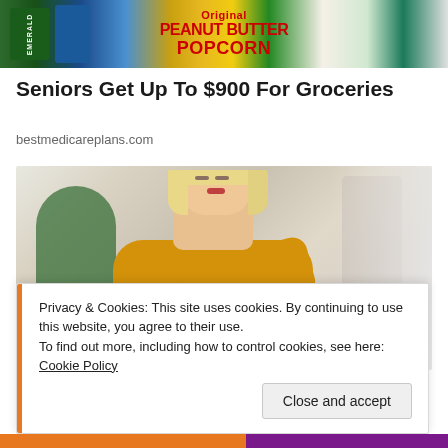[Figure (photo): Advertisement banner showing grocery snack products including Emerald nuts, peanut butter popcorn, and other snack items on a shelf]
Seniors Get Up To $900 For Groceries
bestmedicareplans.com
[Figure (photo): Young blonde woman in a yellow knit sweater looking down, possibly reading something, with a blurred indoor background]
Privacy & Cookies: This site uses cookies. By continuing to use this website, you agree to their use.
To find out more, including how to control cookies, see here: Cookie Policy
Close and accept